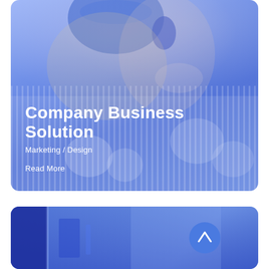[Figure (photo): Woman smiling, wearing blue headphones over blonde hair, dressed in a blue/white striped blouse with floral embroidery, covered by a blue color overlay. Card has rounded corners.]
Company Business Solution
Marketing / Design
Read More
[Figure (photo): Partial view of a second card below with a deep blue overlay, showing what appears to be office/tech equipment with a circular upward-arrow button on the right side.]